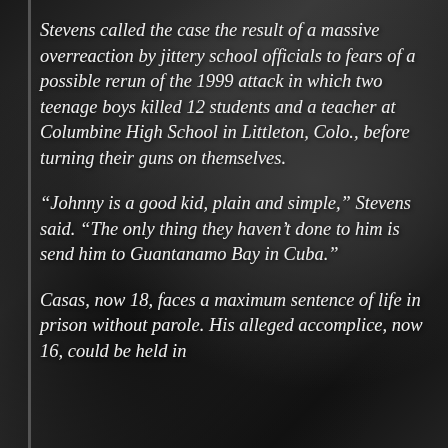Stevens called the case the result of a massive overreaction by jittery school officials to fears of a possible rerun of the 1999 attack in which two teenage boys killed 12 students and a teacher at Columbine High School in Littleton, Colo., before turning their guns on themselves.
“Johnny is a good kid, plain and simple,” Stevens said. “The only thing they haven’t done to him is send him to Guantanamo Bay in Cuba.”
Casas, now 18, faces a maximum sentence of life in prison without parole. His alleged accomplice, now 16, could be held in